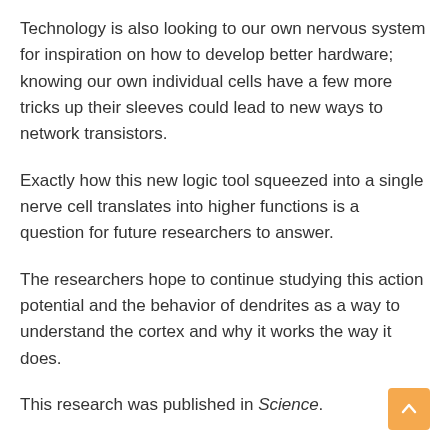Technology is also looking to our own nervous system for inspiration on how to develop better hardware; knowing our own individual cells have a few more tricks up their sleeves could lead to new ways to network transistors.
Exactly how this new logic tool squeezed into a single nerve cell translates into higher functions is a question for future researchers to answer.
The researchers hope to continue studying this action potential and the behavior of dendrites as a way to understand the cortex and why it works the way it does.
This research was published in Science.